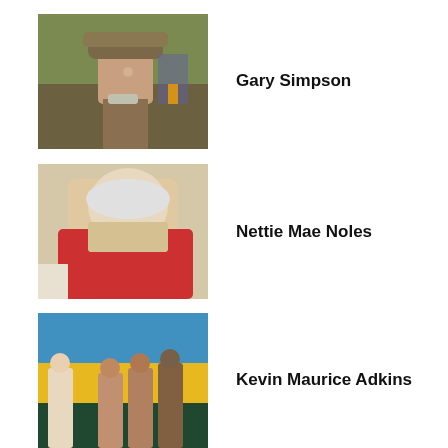[Figure (photo): Elderly man wearing camouflage jacket and cap, outdoors with trees and traffic cones in background]
Gary Simpson
[Figure (photo): Elderly woman with white hair wearing a red jacket, indoor setting]
Nettie Mae Noles
[Figure (photo): Group of people outdoors with a painted landscape mural in the background]
Kevin Maurice Adkins